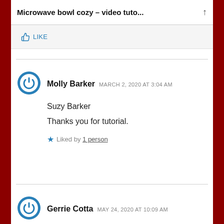Microwave bowl cozy – video tuto...
Like
Molly Barker  MARCH 2, 2020 AT 3:04 AM

Suzy Barker

Thanks you for tutorial.

Liked by 1 person
Gerrie Cotta  MAY 24, 2020 AT 10:09 AM